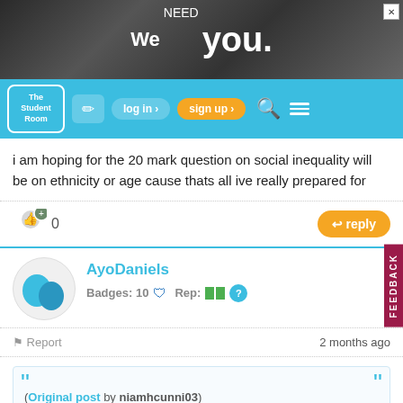[Figure (screenshot): Ad banner with 'We NEED you.' text over photo collage]
[Figure (screenshot): The Student Room navigation bar with logo, log in, sign up, search and menu buttons]
i am hoping for the 20 mark question on social inequality will be on ethnicity or age cause thats all ive really prepared for
[Figure (screenshot): Like button with count 0 and reply button]
AyoDaniels
Badges: 10  Rep: ?
Report  2 months ago
(Original post by niamhcunni03) i am hoping for the 20 mark question on social inequality will be on ethnicity or age cause thats all ive really prepared for